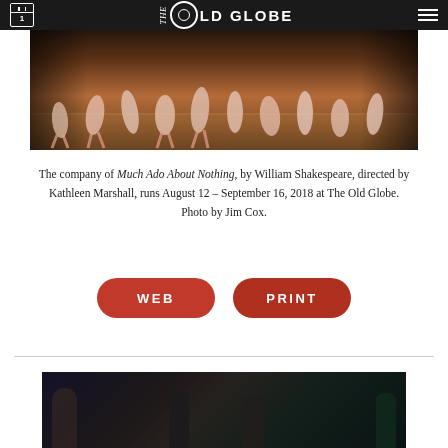The Old Globe
[Figure (photo): Company of Much Ado About Nothing dancing on stage, warm stage lighting, dancers in colorful costumes]
The company of Much Ado About Nothing, by William Shakespeare, directed by Kathleen Marshall, runs August 12 – September 16, 2018 at The Old Globe. Photo by Jim Cox.
[Figure (other): WEB button - dark red rounded rectangle button]
[Figure (other): PRINT button - dark red rounded rectangle button]
[Figure (photo): Second theater production photo, nighttime outdoor scene with characters in period costume]